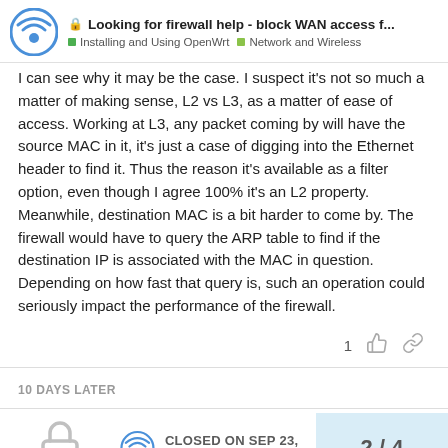Looking for firewall help - block WAN access f... | Installing and Using OpenWrt | Network and Wireless
I can see why it may be the case. I suspect it's not so much a matter of making sense, L2 vs L3, as a matter of ease of access. Working at L3, any packet coming by will have the source MAC in it, it's just a case of digging into the Ethernet header to find it. Thus the reason it's available as a filter option, even though I agree 100% it's an L2 property. Meanwhile, destination MAC is a bit harder to come by. The firewall would have to query the ARP table to find if the destination IP is associated with the MAC in question. Depending on how fast that query is, such an operation could seriously impact the performance of the firewall.
10 DAYS LATER
CLOSED ON SEP 23, '21
2 / 4